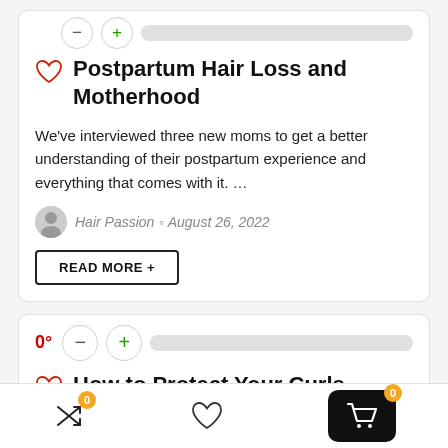Postpartum Hair Loss and Motherhood
We've interviewed three new moms to get a better understanding of their postpartum experience and everything that comes with it. ...
Hair Passion · August 26, 2022
READ MORE +
How to Protect Your Curls During Silk Press